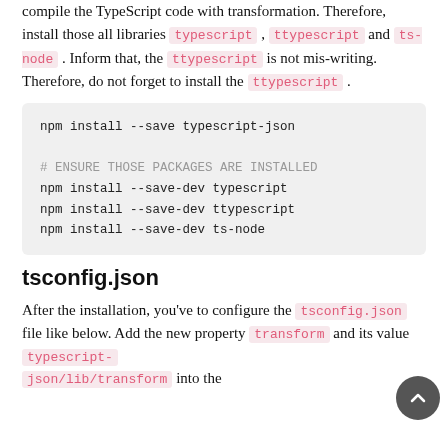compile the TypeScript code with transformation. Therefore, install those all libraries typescript , ttypescript and ts-node . Inform that, the ttypescript is not mis-writing. Therefore, do not forget to install the ttypescript .
npm install --save typescript-json

# ENSURE THOSE PACKAGES ARE INSTALLED
npm install --save-dev typescript
npm install --save-dev ttypescript
npm install --save-dev ts-node
tsconfig.json
After the installation, you've to configure the tsconfig.json file like below. Add the new property transform and its value typescript-json/lib/transform into the